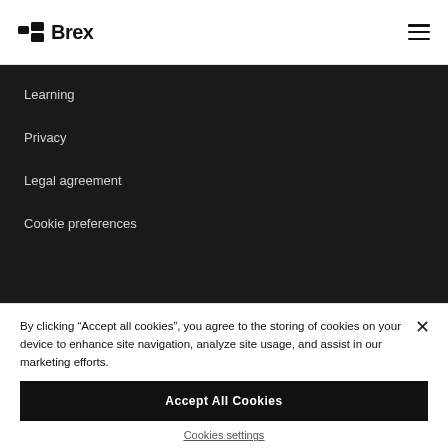Brex
Learning
Privacy
Legal agreement
Cookie preferences
By clicking “Accept all cookies”, you agree to the storing of cookies on your device to enhance site navigation, analyze site usage, and assist in our marketing efforts.
Accept All Cookies
Cookies settings